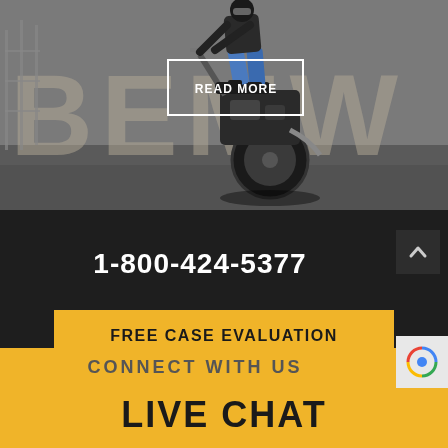[Figure (photo): Motorcycle stunt photo showing a rider doing a wheelie in front of large letters on a paved surface. A 'READ MORE' button overlay is visible in the upper center area.]
1-800-424-5377
FREE CASE EVALUATION
CONNECT WITH US
LIVE CHAT